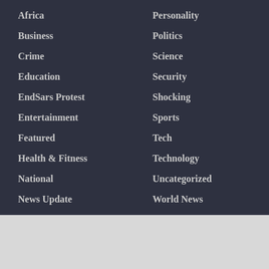Africa
Business
Crime
Education
EndSars Protest
Entertainment
Featured
Health & Fitness
National
News Update
Opinion
Personality
Politics
Science
Security
Shocking
Sports
Tech
Technology
Uncategorized
World News
SITE LINKS
">